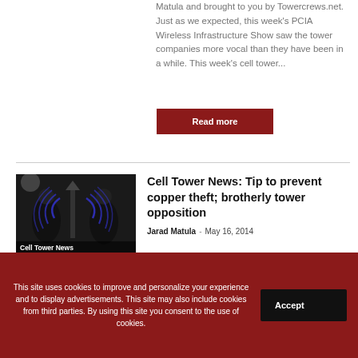Matula and brought to you by Towercrews.net. Just as we expected, this week's PCIA Wireless Infrastructure Show saw the tower companies more vocal than they have been in a while. This week's cell tower...
Read more
[Figure (photo): Two people in black clothing holding a cell tower with blue signal waves. Caption overlay reads 'Cell Tower News'.]
Cell Tower News: Tip to prevent copper theft; brotherly tower opposition
Jarad Matula · May 16, 2014
This site uses cookies to improve and personalize your experience and to display advertisements. This site may also include cookies from third parties. By using this site you consent to the use of cookies.